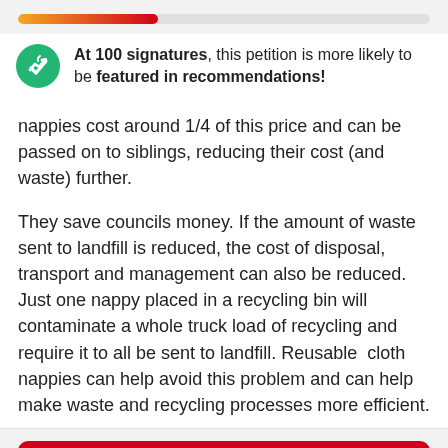[Figure (infographic): Progress bar showing petition signature progress, gradient from orange to red, approximately 34% filled]
At 100 signatures, this petition is more likely to be featured in recommendations!
nappies cost around 1/4 of this price and can be passed on to siblings, reducing their cost (and waste) further.
They save councils money. If the amount of waste sent to landfill is reduced, the cost of disposal, transport and management can also be reduced. Just one nappy placed in a recycling bin will contaminate a whole truck load of recycling and require it to all be sent to landfill. Reusable  cloth nappies can help avoid this problem and can help make waste and recycling processes more efficient.
Sign this petition